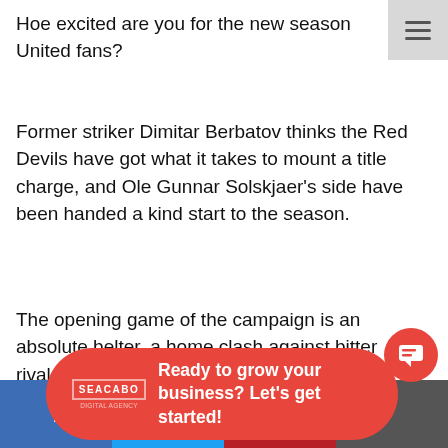Menu/hamburger icon
Hoe excited are you for the new season United fans?
Former striker Dimitar Berbatov thinks the Red Devils have got what it takes to mount a title charge, and Ole Gunnar Solskjaer’s side have been handed a kind start to the season.
The opening game of the campaign is an absolute belter, a home clash against bitter rivals Leeds
[Figure (infographic): Red pill-shaped advertisement banner with SEACABO logo on left and bold white text reading: Ready to grow your business? Let's get started!]
until October 23.
Social sharing bar with Facebook, Twitter, Pinterest, and another icon